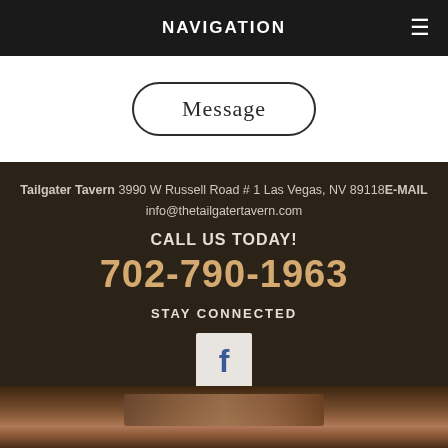NAVIGATION
[Figure (other): Message button with rounded rectangle border]
Tailgater Tavern 3990 W Russell Road # 1 Las Vegas, NV 89118 E-MAIL info@thetailgatertavern.com
CALL US TODAY!
702-790-1963
STAY CONNECTED
[Figure (logo): Facebook icon - white f on light background square]
[Figure (photo): Rusty vintage Tailgater sign at bottom of page]